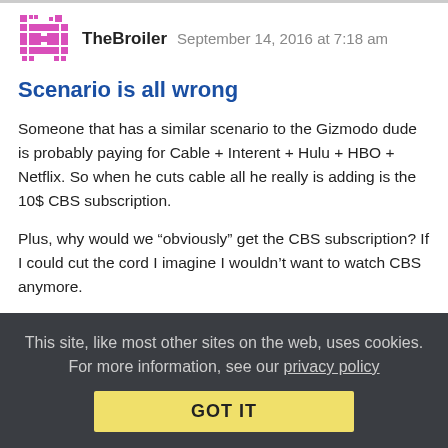TheBroiler   September 14, 2016 at 7:18 am
Scenario is all wrong
Someone that has a similar scenario to the Gizmodo dude is probably paying for Cable + Interent + Hulu + HBO + Netflix. So when he cuts cable all he really is adding is the 10$ CBS subscription.
Plus, why would we “obviously” get the CBS subscription? If I could cut the cord I imagine I wouldn’t want to watch CBS anymore.
Collapse replies (2) | Reply | View in chronology
This site, like most other sites on the web, uses cookies. For more information, see our privacy policy GOT IT